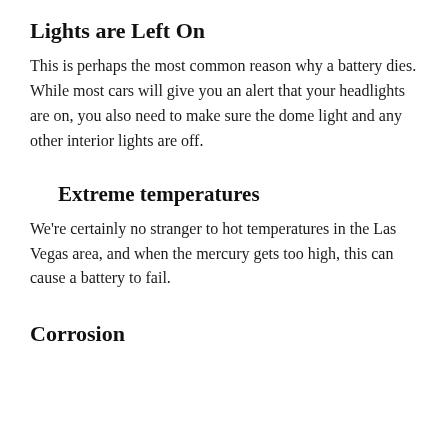Lights are Left On
This is perhaps the most common reason why a battery dies. While most cars will give you an alert that your headlights are on, you also need to make sure the dome light and any other interior lights are off.
Extreme temperatures
We're certainly no stranger to hot temperatures in the Las Vegas area, and when the mercury gets too high, this can cause a battery to fail.
Corrosion